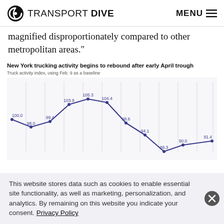TRANSPORT DIVE | MENU
magnified disproportionately compared to other metropolitan areas.”
[Figure (line-chart): New York trucking activity begins to rebound after early April trough]
This website stores data such as cookies to enable essential site functionality, as well as marketing, personalization, and analytics. By remaining on this website you indicate your consent. Privacy Policy